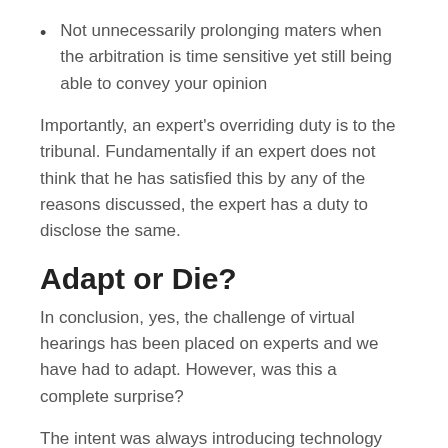Not unnecessarily prolonging maters when the arbitration is time sensitive yet still being able to convey your opinion
Importantly, an expert's overriding duty is to the tribunal. Fundamentally if an expert does not think that he has satisfied this by any of the reasons discussed, the expert has a duty to disclose the same.
Adapt or Die?
In conclusion, yes, the challenge of virtual hearings has been placed on experts and we have had to adapt. However, was this a complete surprise?
The intent was always introducing technology into the court system by giving it the necessary time to adjust and iron out any teething problems.
The process happened much quicker than planned